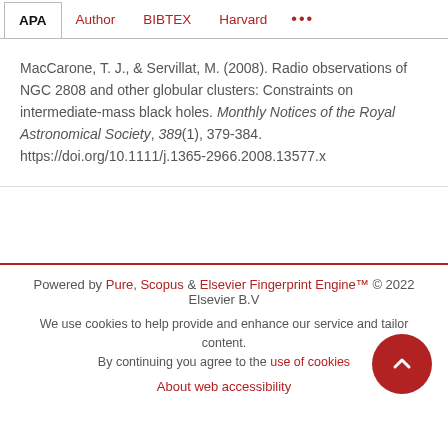APA  Author  BIBTEX  Harvard  ...
MacCarone, T. J., & Servillat, M. (2008). Radio observations of NGC 2808 and other globular clusters: Constraints on intermediate-mass black holes. Monthly Notices of the Royal Astronomical Society, 389(1), 379-384. https://doi.org/10.1111/j.1365-2966.2008.13577.x
Powered by Pure, Scopus & Elsevier Fingerprint Engine™ © 2022 Elsevier B.V
We use cookies to help provide and enhance our service and tailor content. By continuing you agree to the use of cookies
About web accessibility